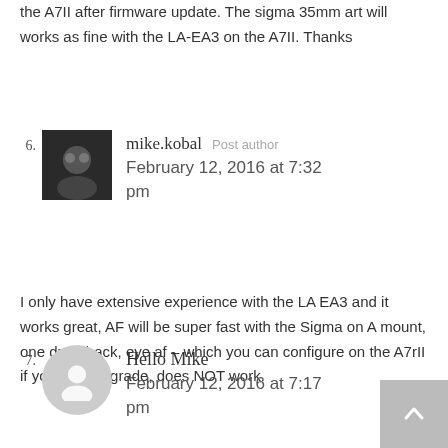the A7II after firmware update. The sigma 35mm art will works as fine with the LA-EA3 on the A7II. Thanks
6. mike.kobal Post author February 12, 2016 at 7:32 pm
I only have extensive experience with the LA EA3 and it works great, AF will be super fast with the Sigma on A mount, one draw back, eye af – which you can configure on the A7rII if you ever upgrade, does NOT work.
7. Hello Mike February 12, 2016 at 7:17 pm